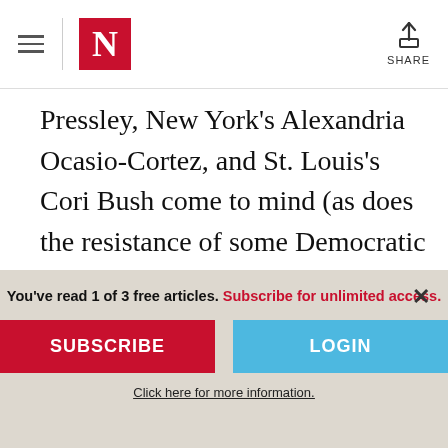The Nation — Navigation header with logo and share button
Pressley, New York's Alexandria Ocasio-Cortez, and St. Louis's Cori Bush come to mind (as does the resistance of some Democratic Party congressional leaders to those Democratic primary challengers).
The party's commitment to diversity, inclusion, and growing its base can only be
You've read 1 of 3 free articles. Subscribe for unlimited access.
SUBSCRIBE
LOGIN
Click here for more information.